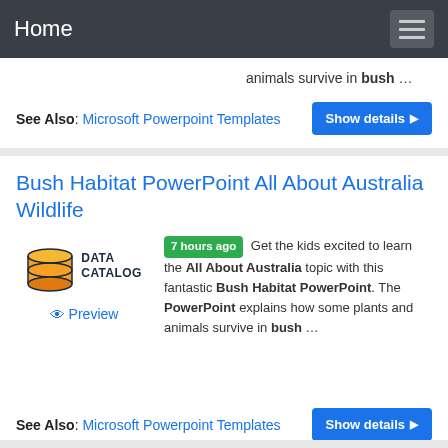Home
animals survive in bush …
See Also: Microsoft Powerpoint Templates  Show details ▶
Bush Habitat PowerPoint All About Australia Wildlife
[Figure (logo): Data Catalog logo with stacked orange cylinder database icon and 'DATA CATALOG' text]
7 hours ago  Get the kids excited to learn the All About Australia topic with this fantastic Bush Habitat PowerPoint. The PowerPoint explains how some plants and animals survive in bush …
Preview
See Also: Microsoft Powerpoint Templates  Show details ▶